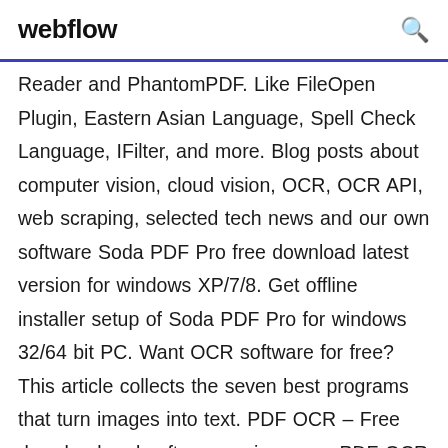webflow
Reader and PhantomPDF. Like FileOpen Plugin, Eastern Asian Language, Spell Check Language, IFilter, and more. Blog posts about computer vision, cloud vision, OCR, OCR API, web scraping, selected tech news and our own software Soda PDF Pro free download latest version for windows XP/7/8. Get offline installer setup of Soda PDF Pro for windows 32/64 bit PC. Want OCR software for free? This article collects the seven best programs that turn images into text. PDF OCR – Free download and software reviews – ... PDF OCR is based on OCR technology to convert scanned PDF paper books and documents into editable electronic text files fast and easily. ad pdf - Free ebook